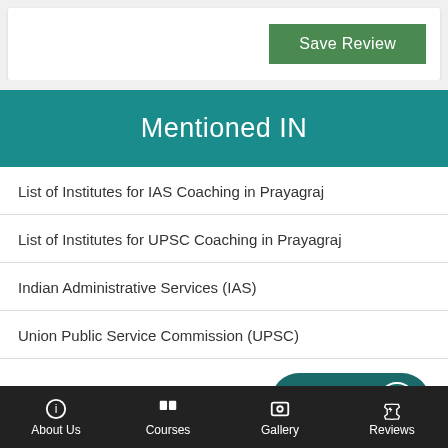[Figure (screenshot): Save Review green button at top right of a white card]
Mentioned IN
List of Institutes for IAS Coaching in Prayagraj
List of Institutes for UPSC Coaching in Prayagraj
Indian Administrative Services (IAS)
Union Public Service Commission (UPSC)
Institutes in Prayagraj
About Us   Courses   Gallery   Reviews